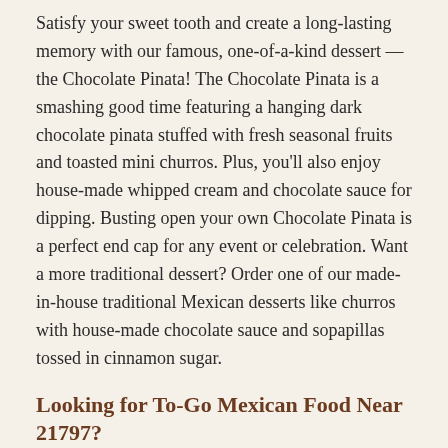Satisfy your sweet tooth and create a long-lasting memory with our famous, one-of-a-kind dessert — the Chocolate Pinata! The Chocolate Pinata is a smashing good time featuring a hanging dark chocolate pinata stuffed with fresh seasonal fruits and toasted mini churros. Plus, you'll also enjoy house-made whipped cream and chocolate sauce for dipping. Busting open your own Chocolate Pinata is a perfect end cap for any event or celebration. Want a more traditional dessert? Order one of our made-in-house traditional Mexican desserts like churros with house-made chocolate sauce and sopapillas tossed in cinnamon sugar.
Looking for To-Go Mexican Food Near 21797?
You can have the Uncle Julio's Tex-Mex restaurant experience from the comfort of your Woodbine home! Order Mexican food online, give us a call, or drive up to order Mexican takeout near 21797. Our simple and quick